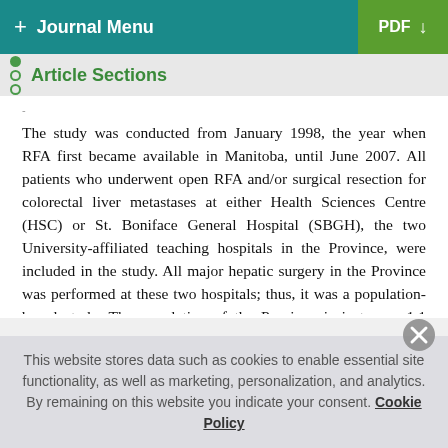+ Journal Menu  PDF ↓
Article Sections
The study was conducted from January 1998, the year when RFA first became available in Manitoba, until June 2007. All patients who underwent open RFA and/or surgical resection for colorectal liver metastases at either Health Sciences Centre (HSC) or St. Boniface General Hospital (SBGH), the two University-affiliated teaching hospitals in the Province, were included in the study. All major hepatic surgery in the Province was performed at these two hospitals; thus, it was a population-based study. The population of the Province is just over 1.1 million people, and the catchment area of the two hospitals is
This website stores data such as cookies to enable essential site functionality, as well as marketing, personalization, and analytics. By remaining on this website you indicate your consent. Cookie Policy